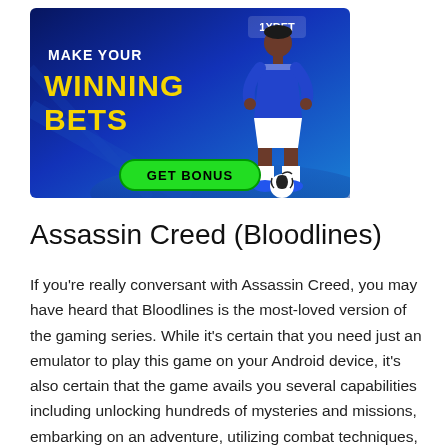[Figure (illustration): 1XBET advertisement banner with dark blue background. Text reads 'MAKE YOUR WINNING BETS' in white and yellow bold uppercase letters. A soccer player in blue 1XBET jersey standing with a ball is shown on the right side. A green 'GET BONUS' button is at the bottom center.]
Assassin Creed (Bloodlines)
If you're really conversant with Assassin Creed, you may have heard that Bloodlines is the most-loved version of the gaming series. While it's certain that you need just an emulator to play this game on your Android device, it's also certain that the game avails you several capabilities including unlocking hundreds of mysteries and missions, embarking on an adventure, utilizing combat techniques,